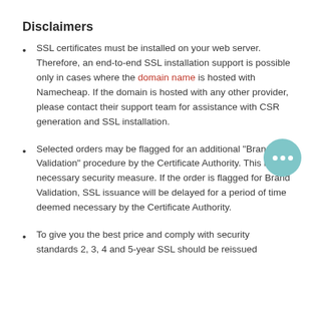Disclaimers
SSL certificates must be installed on your web server. Therefore, an end-to-end SSL installation support is possible only in cases where the domain name is hosted with Namecheap. If the domain is hosted with any other provider, please contact their support team for assistance with CSR generation and SSL installation.
Selected orders may be flagged for an additional "Brand Validation" procedure by the Certificate Authority. This is a necessary security measure. If the order is flagged for Brand Validation, SSL issuance will be delayed for a period of time deemed necessary by the Certificate Authority.
To give you the best price and comply with security standards 2, 3, 4 and 5-year SSL should be reissued